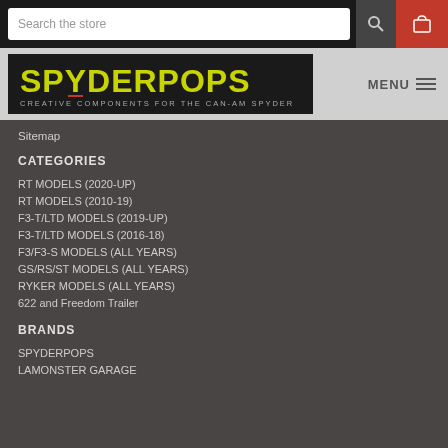Search the store
[Figure (logo): SPYDERPOPS logo — Creative Components for the Can-Am Spyder]
Sitemap
CATEGORIES
RT MODELS (2020-UP)
RT MODELS (2010-19)
F3-T/LTD MODELS (2019-UP)
F3-T/LTD MODELS (2016-18)
F3/F3-S MODELS (ALL YEARS)
GS/RS/ST MODELS (ALL YEARS)
RYKER MODELS (ALL YEARS)
622 and Freedom Trailer
BRANDS
SPYDERPOPS
LAMONSTER GARAGE